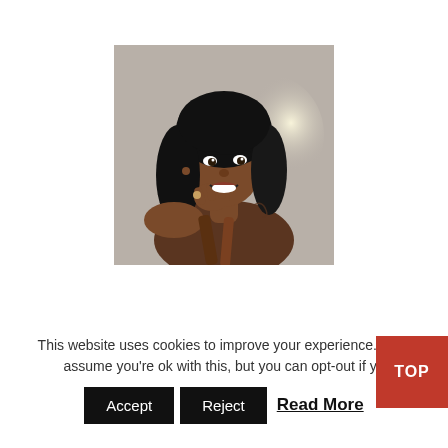[Figure (photo): A woman with long curly black hair, smiling and posing with her hands near her face, wearing a strapless outfit, against a light background with a bright glow behind her.]
This website uses cookies to improve your experience. We'll assume you're ok with this, but you can opt-out if yo
Accept   Reject   Read More
TOP